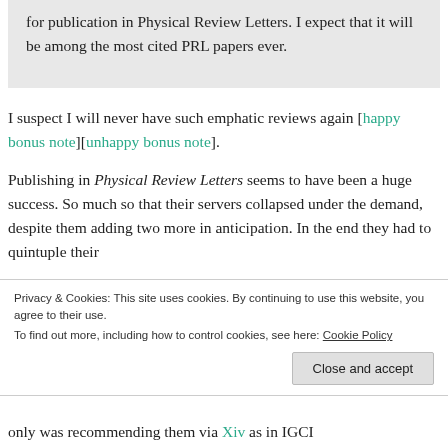for publication in Physical Review Letters. I expect that it will be among the most cited PRL papers ever.
I suspect I will never have such emphatic reviews again [happy bonus note][unhappy bonus note].
Publishing in Physical Review Letters seems to have been a huge success. So much so that their servers collapsed under the demand, despite them adding two more in anticipation. In the end they had to quintuple their
Privacy & Cookies: This site uses cookies. By continuing to use this website, you agree to their use. To find out more, including how to control cookies, see here: Cookie Policy
Close and accept
only was recommending them via Xiv as in IGCI